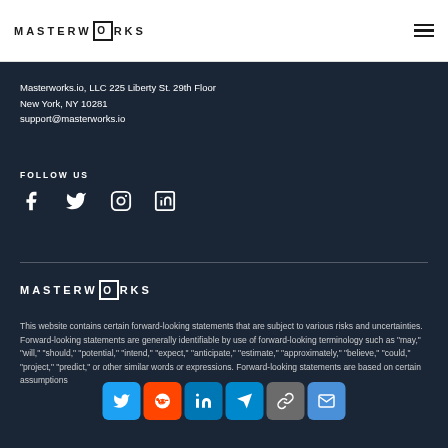MASTERWORKS
Masterworks.io, LLC 225 Liberty St. 29th Floor
New York, NY 10281
support@masterworks.io
FOLLOW US
[Figure (infographic): Social media icons: Facebook, Twitter, Instagram, LinkedIn]
[Figure (logo): Masterworks logo in white on dark background]
This website contains certain forward-looking statements that are subject to various risks and uncertainties. Forward-looking statements are generally identifiable by use of forward-looking terminology such as "may," "will," "should," "potential," "intend," "expect," "anticipate," "estimate," "approximately," "believe," "could," "project," "predict," or other similar words or expressions. Forward-looking statements are based on certain assumptions
[Figure (infographic): Social sharing buttons: Twitter, Reddit, LinkedIn, Telegram, Link, Email]